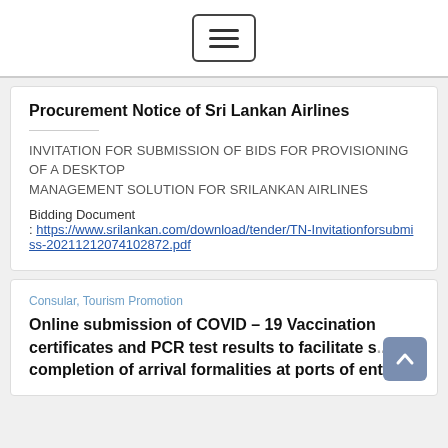[Figure (other): Hamburger menu button icon with three horizontal lines inside a rounded rectangle border]
Procurement Notice of Sri Lankan Airlines
INVITATION FOR SUBMISSION OF BIDS FOR PROVISIONING OF A DESKTOP
MANAGEMENT SOLUTION FOR SRILANKAN AIRLINES
Bidding Document
: https://www.srilankan.com/download/tender/TN-Invitationforsubmiss-20211212074102872.pdf
Consular, Tourism Promotion
Online submission of COVID – 19 Vaccination certificates and PCR test results to facilitate s... completion of arrival formalities at ports of entry...